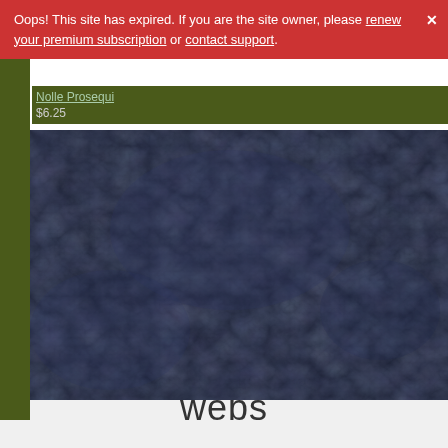Oops! This site has expired. If you are the site owner, please renew your premium subscription or contact support.
Nolle Prosequi
$6.25
[Figure (photo): Dark blue-grey textured microscopy or satellite image showing complex swirling organic patterns]
webs